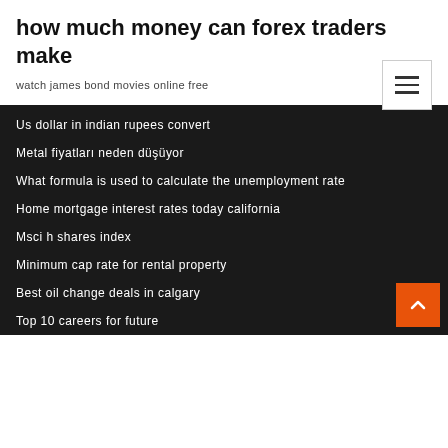how much money can forex traders make
watch james bond movies online free
Us dollar in indian rupees convert
Metal fiyatları neden düşüyor
What formula is used to calculate the unemployment rate
Home mortgage interest rates today california
Msci h shares index
Minimum cap rate for rental property
Best oil change deals in calgary
Top 10 careers for future